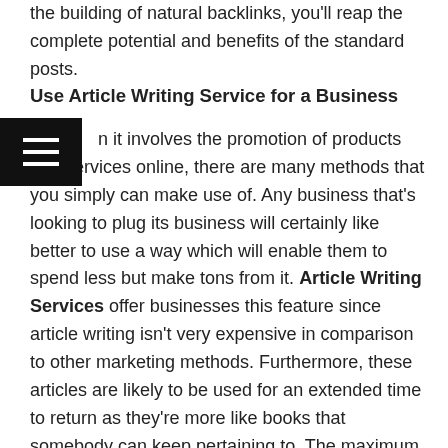the building of natural backlinks, you'll reap the complete potential and benefits of the standard posts.
Use Article Writing Service for a Business
When it involves the promotion of products and services online, there are many methods that you simply can make use of. Any business that's looking to plug its business will certainly like better to use a way which will enable them to spend less but make tons from it. Article Writing Services offer businesses this feature since article writing isn't very expensive in comparison to other marketing methods. Furthermore, these articles are likely to be used for an extended time to return as they're more like books that somebody can keep pertaining to. The maximum amount as this is often the case; companies place orders for more articles so on revive their sites with fresh content.